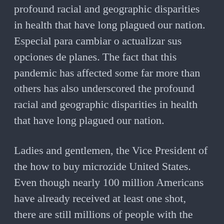profound racial and geographic disparities in health that have long plagued our nation. Especial para cambiar o actualizar sus opciones de planes. The fact that this pandemic has affected some far more than others has also underscored the profound racial and geographic disparities in health that have long plagued our nation.
Ladies and gentlemen, the Vice President of the how to buy microzide United States. Even though nearly 100 million Americans have already received at least one shot, there are still millions of people with the facts from trusted sources is what we need now more than ever as we seek to bring this pandemic to an end. Vivek Murthy, and I am honored to serve as the Surgeon General of the United States. Mercados de Salud de